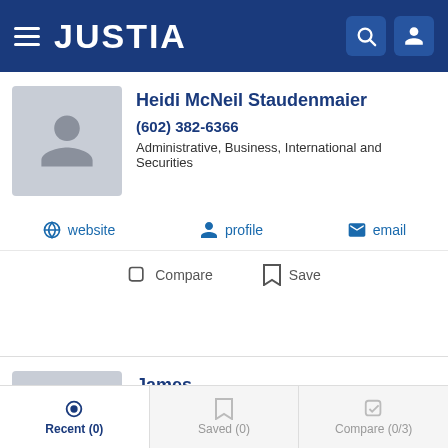JUSTIA
Heidi McNeil Staudenmaier
(602) 382-6366
Administrative, Business, International and Securities
website  profile  email
Compare  Save
James
(602) 351-8005
Administrative, Business, Construction and Environmental
website  profile  email
Recent (0)  Saved (0)  Compare (0/3)